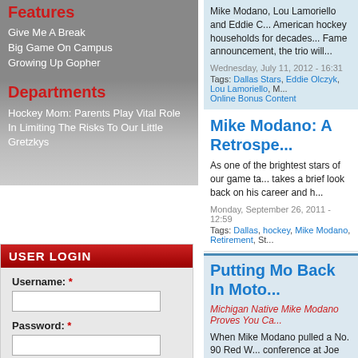Features
Give Me A Break
Big Game On Campus
Growing Up Gopher
Departments
Hockey Mom: Parents Play Vital Role In Limiting The Risks To Our Little Gretzkys
USER LOGIN
Username: *
Password: *
Log in
Create new account
Request new password
Mike Modano, Lou Lamoriello and Eddie C... American hockey households for decades... Fame announcement, the trio will...
Wednesday, July 11, 2012 - 16:31
Tags: Dallas Stars, Eddie Olczyk, Lou Lamoriello, M... Online Bonus Content
Mike Modano: A Retrospe...
As one of the brightest stars of our game ta... takes a brief look back on his career and h...
Monday, September 26, 2011 - 12:59
Tags: Dallas, hockey, Mike Modano, Retirement, St...
Putting Mo Back In Moto...
Michigan Native Mike Modano Proves You Ca...
When Mike Modano pulled a No. 90 Red W... conference at Joe Louis Arena in Detroit, H...
Thursday, September 16, 2010 - 16:04
Tags: Dallas Stars, Detroit Red Wings, Michigan, M...
One Mo' Time
Mike Modano Out To Prove There's Enough Le... Gold
An Olympic mixed zone is a cross between...